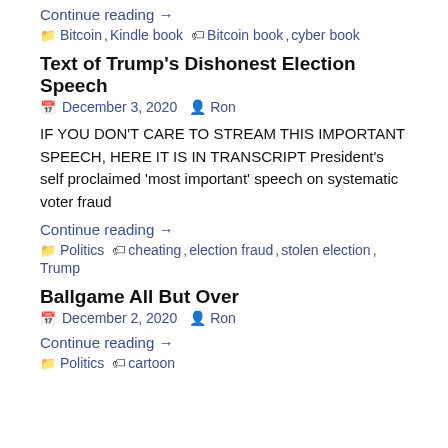Continue reading →
📁 Bitcoin, Kindle book  🏷 Bitcoin book, cyber book
Text of Trump's Dishonest Election Speech
📅 December 3, 2020  👤 Ron
IF YOU DON'T CARE TO STREAM THIS IMPORTANT SPEECH, HERE IT IS IN TRANSCRIPT President's self proclaimed 'most important' speech on systematic voter fraud
Continue reading →
📁 Politics  🏷 cheating, election fraud, stolen election, Trump
Ballgame All But Over
📅 December 2, 2020  👤 Ron
Continue reading →
📁 Politics  🏷 cartoon